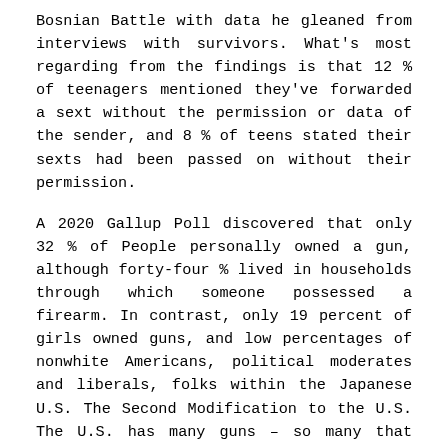Bosnian Battle with data he gleaned from interviews with survivors. What's most regarding from the findings is that 12 % of teenagers mentioned they've forwarded a sext without the permission or data of the sender, and 8 % of teens stated their sexts had been passed on without their permission.
A 2020 Gallup Poll discovered that only 32 % of People personally owned a gun, although forty-four % lived in households through which someone possessed a firearm. In contrast, only 19 percent of girls owned guns, and low percentages of nonwhite Americans, political moderates and liberals, folks within the Japanese U.S. The Second Modification to the U.S. The U.S. has many guns – so many that there are a couple of firearms for each one who lives within the nation. A relatively small number of closely armed individuals own many of the nation's guns. Individuals look at 1000's handguns as tons of